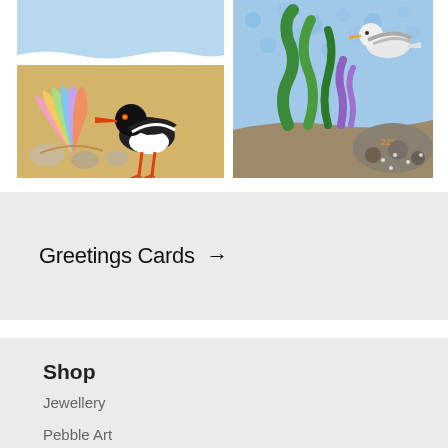[Figure (illustration): Two illustrated greeting cards showing coastal/beach scenes. Left card shows a colorful rainbow shell and an oystercatcher bird on a sandy beach. Right card shows seaweed, coral, and a seagull in an ocean scene.]
Greetings Cards →
Shop
New
Jewellery
Pebble Art